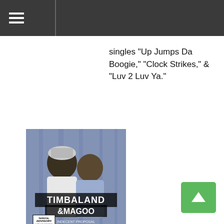singles "Up Jumps Da Boogie," "Clock Strikes," & "Luv 2 Luv Ya."
[Figure (photo): Album cover for Timbaland & Magoo 'Indecent Proposal' showing two men with a blue background and Parental Advisory label]
Timbaland & Magoo
Indecent Proposal
Empire